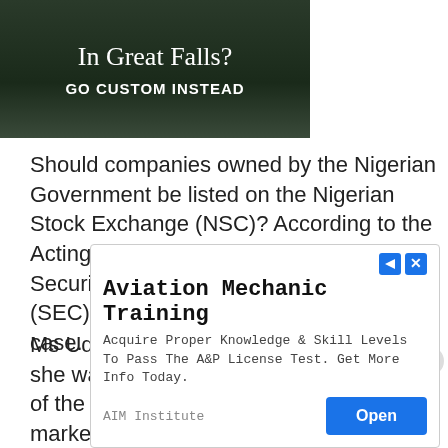[Figure (photo): Dark green/brown advertisement banner with text 'In Great Falls?' and 'GO CUSTOM INSTEAD' in white text on a dark road/nature background]
Should companies owned by the Nigerian Government be listed on the Nigerian Stock Exchange (NSC)? According to the Acting Director-General of Nigeria's Securities and Exchange Commission (SEC), Ms Mary Uduk, this should be the case.
Ms Uduk made this known recently when she was paid a courtesy visit by members of the Senate Committee on the capital market.
[Figure (screenshot): Advertisement for Aviation Mechanic Training by AIM Institute. Text: 'Acquire Proper Knowledge & Skill Levels To Pass The A&P License Test. Get More Info Today.' with an 'Open' button.]